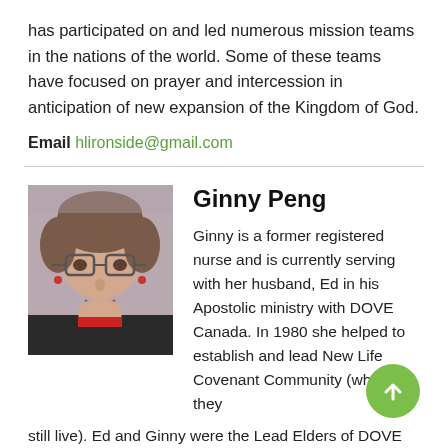has participated on and led numerous mission teams in the nations of the world. Some of these teams have focused on prayer and intercession in anticipation of new expansion of the Kingdom of God.
Email hlironside@gmail.com
Ginny Peng
[Figure (photo): Portrait photo of Ginny Peng, a woman with short brown hair and glasses, smiling, wearing a dark jacket and red shirt.]
Ginny is a former registered nurse and is currently serving with her husband, Ed in his Apostolic ministry with DOVE Canada. In 1980 she helped to establish and lead New Life Covenant Community (where they still live). Ed and Ginny were the Lead Elders of DOVE